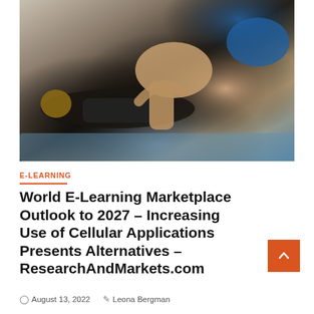[Figure (photo): Two people during a physical therapy or martial arts session; one person lying on the ground wearing dark clothing while another kneels over them performing a stretch or hold, photographed indoors.]
E-LEARNING
World E-Learning Marketplace Outlook to 2027 – Increasing Use of Cellular Applications Presents Alternatives – ResearchAndMarkets.com
August 13, 2022   Leona Bergman